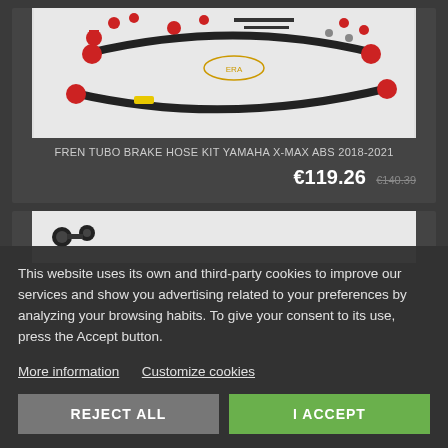[Figure (photo): Brake hose kit product image showing red and black hoses with fittings on white background]
FREN TUBO BRAKE HOSE KIT YAMAHA X-MAX ABS 2018-2021
€119.26  €140.39
[Figure (photo): Partially visible second product image showing black brake fittings on white background]
This website uses its own and third-party cookies to improve our services and show you advertising related to your preferences by analyzing your browsing habits. To give your consent to its use, press the Accept button.
More information   Customize cookies
REJECT ALL
I ACCEPT